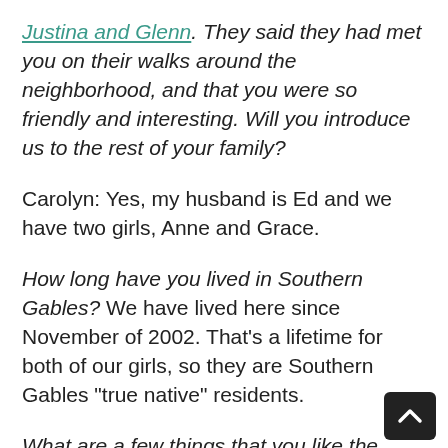Justina and Glenn. They said they had met you on their walks around the neighborhood, and that you were so friendly and interesting. Will you introduce us to the rest of your family?
Carolyn: Yes, my husband is Ed and we have two girls, Anne and Grace.
How long have you lived in Southern Gables? We have lived here since November of 2002. That's a lifetime for both of our girls, so they are Southern Gables "true native" residents.
What are a few things that you like the most about the Southern Gables community? We love the beauty of